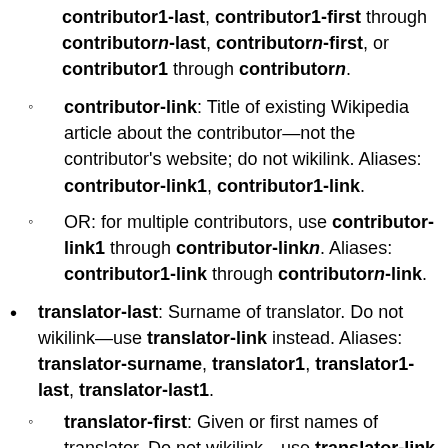contributor1-last, contributor1-first through contributorn-last, contributorn-first, or contributor1 through contributorn.
contributor-link: Title of existing Wikipedia article about the contributor—not the contributor's website; do not wikilink. Aliases: contributor-link1, contributor1-link.
OR: for multiple contributors, use contributor-link1 through contributor-linkn. Aliases: contributor1-link through contributorn-link.
translator-last: Surname of translator. Do not wikilink—use translator-link instead. Aliases: translator-surname, translator1, translator1-last, translator-last1.
translator-first: Given or first names of translator. Do not wikilink—use translator-link instead.
Aliases: translator-first, translator1-first...